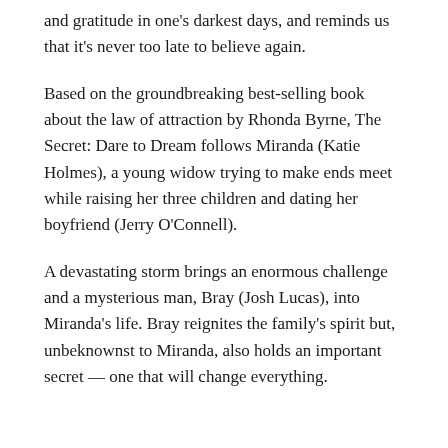and gratitude in one's darkest days, and reminds us that it's never too late to believe again.
Based on the groundbreaking best-selling book about the law of attraction by Rhonda Byrne, The Secret: Dare to Dream follows Miranda (Katie Holmes), a young widow trying to make ends meet while raising her three children and dating her boyfriend (Jerry O'Connell).
A devastating storm brings an enormous challenge and a mysterious man, Bray (Josh Lucas), into Miranda's life. Bray reignites the family's spirit but, unbeknownst to Miranda, also holds an important secret — one that will change everything.